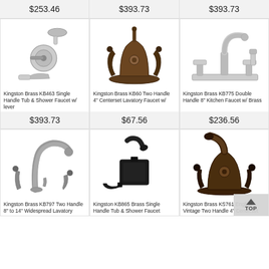$253.46
$393.73
$393.73
[Figure (photo): Kingston Brass tub and shower faucet with lever handle, chrome finish]
Kingston Brass KB463 Single Handle Tub & Shower Faucet w/ lever
$393.73
[Figure (photo): Kingston Brass two handle 4 inch centerset lavatory faucet, oil rubbed bronze finish]
Kingston Brass KB60 Two Handle 4" Centerset Lavatory Faucet w/
$67.56
[Figure (photo): Kingston Brass double handle 8 inch kitchen faucet with brass finish]
Kingston Brass KB775 Double Handle 8" Kitchen Faucet w/ Brass
$236.56
[Figure (photo): Kingston Brass two handle 8 to 14 inch widespread lavatory faucet, brushed nickel]
Kingston Brass KB797 Two Handle 8" to 14" Widespread Lavatory
[Figure (photo): Kingston KB865 Brass single handle tub and shower faucet, matte black]
Kingston KB865 Brass Single Handle Tub & Shower Faucet
[Figure (photo): Kingston Brass KS761 English Vintage Two Handle 4 inch Centerset, oil rubbed bronze]
Kingston Brass KS761 English Vintage Two Handle 4" Centerset